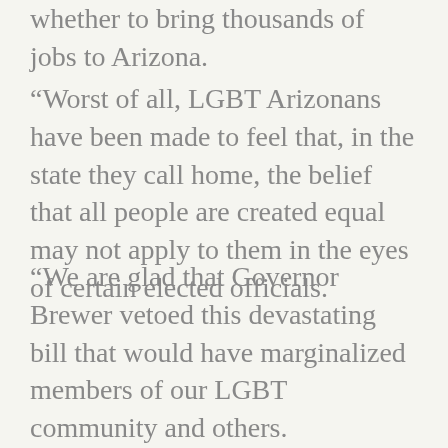whether to bring thousands of jobs to Arizona.
“Worst of all, LGBT Arizonans have been made to feel that, in the state they call home, the belief that all people are created equal may not apply to them in the eyes of certain elected officials.
“We are glad that Governor Brewer vetoed this devastating bill that would have marginalized members of our LGBT community and others.